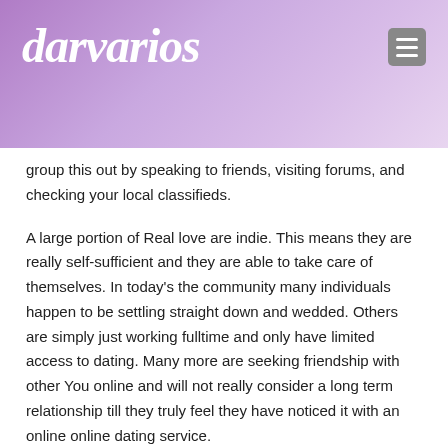darvarios
group this out by speaking to friends, visiting forums, and checking your local classifieds.
A large portion of Real love are indie. This means they are really self-sufficient and they are able to take care of themselves. In today’s the community many individuals happen to be settling straight down and wedded. Others are simply just working fulltime and only have limited access to dating. Many more are seeking friendship with other You online and will not really consider a long term relationship till they truly feel they have noticed it with an online online dating service.
The last stage is a large demographic. Single's are all over the place. They live all over the world and appreciate travelling. The net is one of the the majority of popular ways that people meet up